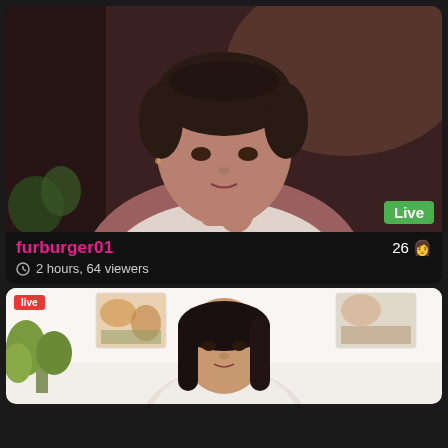[Figure (screenshot): Live streaming app screenshot showing two video cards. Top card: person with short dark hair, white tank top, holding hand near face, in a dimly lit room. Bottom card: person with long dark hair in a bright white room with colorful artwork on the wall and green plant visible.]
Live
furburger01
26 👤
⏱ 2 hours, 64 viewers
live